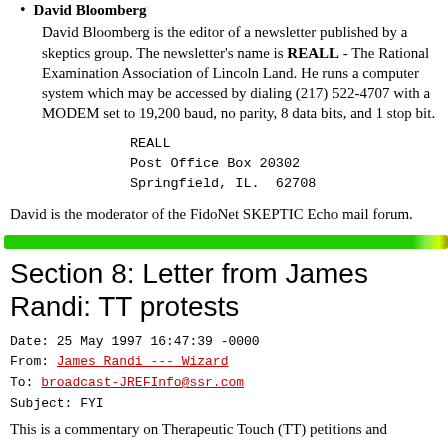David Bloomberg
David Bloomberg is the editor of a newsletter published by a skeptics group. The newsletter's name is REALL - The Rational Examination Association of Lincoln Land. He runs a computer system which may be accessed by dialing (217) 522-4707 with a MODEM set to 19,200 baud, no parity, 8 data bits, and 1 stop bit.
REALL
Post Office Box 20302
Springfield, IL.  62708
David is the moderator of the FidoNet SKEPTIC Echo mail forum.
[Figure (other): Green horizontal decorative bar separator]
Section 8: Letter from James Randi: TT protests
Date: 25 May 1997 16:47:39 -0000
From: James Randi --- Wizard
To: broadcast-JREFInfo@ssr.com
Subject: FYI
This is a commentary on Therapeutic Touch (TT) petitions and...